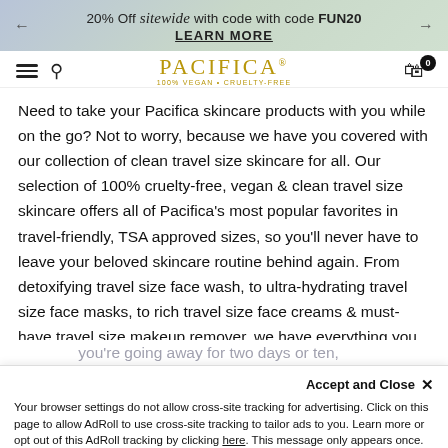20% Off sitewide with code with code FUN20 LEARN MORE
[Figure (logo): Pacifica 100% Vegan + Cruelty-Free logo in gold]
Need to take your Pacifica skincare products with you while on the go? Not to worry, because we have you covered with our collection of clean travel size skincare for all. Our selection of 100% cruelty-free, vegan & clean travel size skincare offers all of Pacifica's most popular favorites in travel-friendly, TSA approved sizes, so you'll never have to leave your beloved skincare routine behind again. From detoxifying travel size face wash, to ultra-hydrating travel size face masks, to rich travel size face creams & must-have travel size makeup remover, we have everything you need to stock up on clean travel size skincare essentials for your next trip. Because
Accept and Close ×
Your browser settings do not allow cross-site tracking for advertising. Click on this page to allow AdRoll to use cross-site tracking to tailor ads to you. Learn more or opt out of this AdRoll tracking by clicking here. This message only appears once.